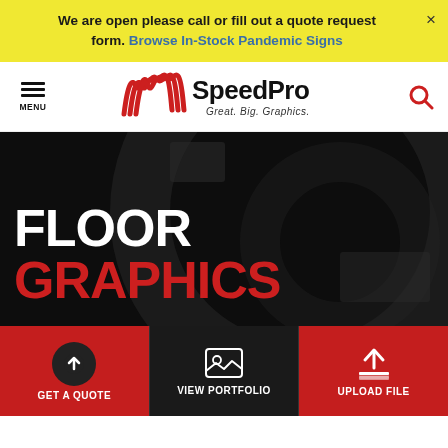We are open please call or fill out a quote request form. Browse In-Stock Pandemic Signs ×
[Figure (logo): SpeedPro logo with stylized wave mark and tagline 'Great. Big. Graphics.']
FLOOR GRAPHICS
GET A QUOTE | VIEW PORTFOLIO | UPLOAD FILE